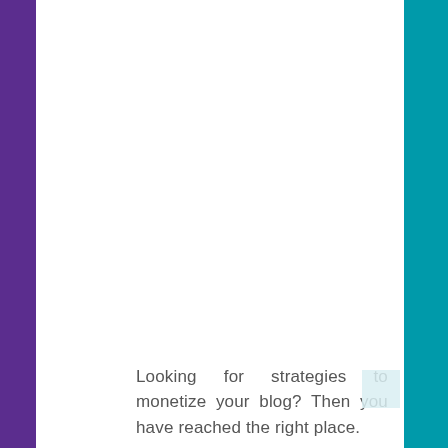Looking for strategies to monetize your blog? Then you have reached the right place.